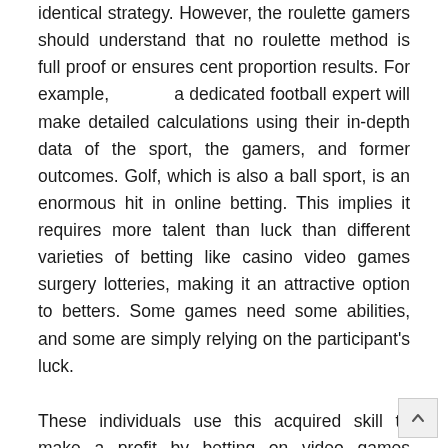identical strategy. However, the roulette gamers should understand that no roulette method is full proof or ensures cent proportion results. For example, [링크텍스트] a dedicated football expert will make detailed calculations using their in-depth data of the sport, the gamers, and former outcomes. Golf, which is also a ball sport, is an enormous hit in online betting. This implies it requires more talent than luck than different varieties of betting like casino video games surgery lotteries, making it an attractive option to betters. Some games need some abilities, and some are simply relying on the participant's luck.
These individuals use this acquired skill to make a profit by betting on video games worldwide.